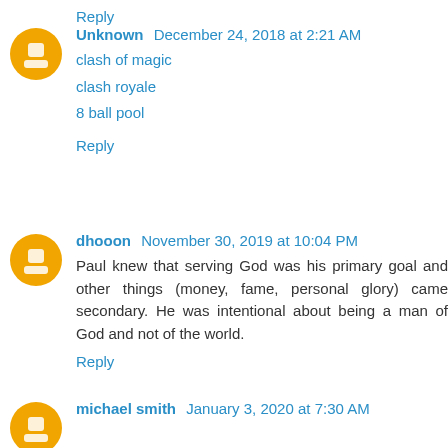Reply
Unknown  December 24, 2018 at 2:21 AM
clash of magic
clash royale
8 ball pool
Reply
dhooon  November 30, 2019 at 10:04 PM
Paul knew that serving God was his primary goal and other things (money, fame, personal glory) came secondary. He was intentional about being a man of God and not of the world.
Reply
michael smith  January 3, 2020 at 7:30 AM